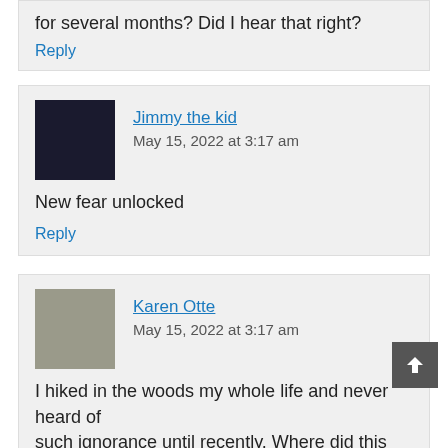for several months? Did I hear that right?
Reply
Jimmy the kid
May 15, 2022 at 3:17 am
New fear unlocked
Reply
Karen Otte
May 15, 2022 at 3:17 am
I hiked in the woods my whole life and never heard of such ignorance until recently. Where did this even